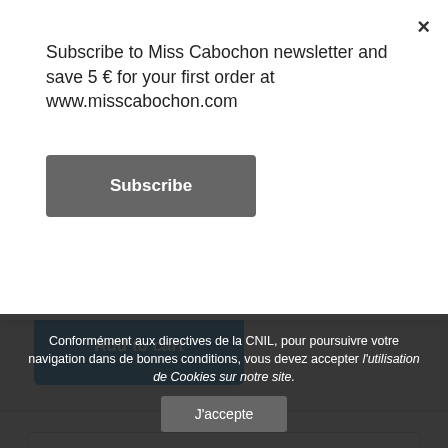Subscribe to Miss Cabochon newsletter and save 5 € for your first order at www.misscabochon.com
Subscribe
Add to cart
PAIRED JEWELRY
Conformément aux directives de la CNIL, pour poursuivre votre navigation dans de bonnes conditions, vous devez accepter l'utilisation de Cookies sur notre site.
J'accepte